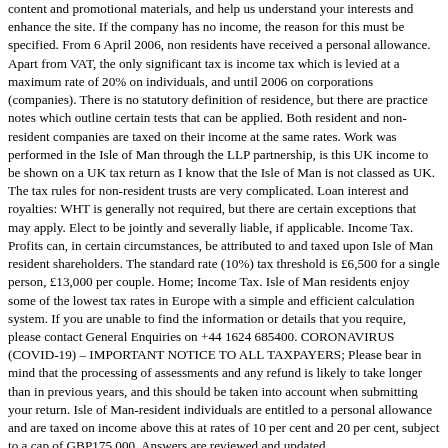content and promotional materials, and help us understand your interests and enhance the site. If the company has no income, the reason for this must be specified. From 6 April 2006, non residents have received a personal allowance. Apart from VAT, the only significant tax is income tax which is levied at a maximum rate of 20% on individuals, and until 2006 on corporations (companies). There is no statutory definition of residence, but there are practice notes which outline certain tests that can be applied. Both resident and non-resident companies are taxed on their income at the same rates. Work was performed in the Isle of Man through the LLP partnership, is this UK income to be shown on a UK tax return as I know that the Isle of Man is not classed as UK. The tax rules for non-resident trusts are very complicated. Loan interest and royalties: WHT is generally not required, but there are certain exceptions that may apply. Elect to be jointly and severally liable, if applicable. Income Tax. Profits can, in certain circumstances, be attributed to and taxed upon Isle of Man resident shareholders. The standard rate (10%) tax threshold is £6,500 for a single person, £13,000 per couple. Home; Income Tax. Isle of Man residents enjoy some of the lowest tax rates in Europe with a simple and efficient calculation system. If you are unable to find the information or details that you require, please contact General Enquiries on +44 1624 685400. CORONAVIRUS (COVID-19) – IMPORTANT NOTICE TO ALL TAXPAYERS; Please bear in mind that the processing of assessments and any refund is likely to take longer than in previous years, and this should be taken into account when submitting your return. Isle of Man-resident individuals are entitled to a personal allowance and are taxed on income above this at rates of 10 per cent and 20 per cent, subject to a cap of GBP175,000. Answers are reviewed and updated